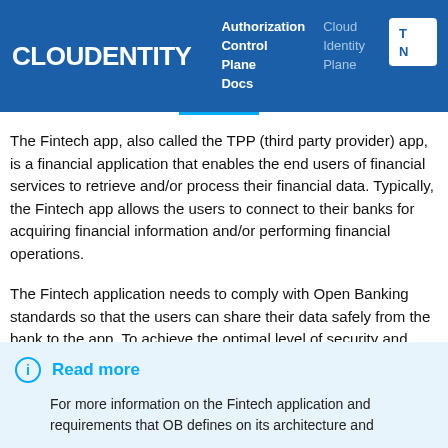CLOUDENTITY — Authorization Control Plane Docs | Cloud Identity Plane
The Fintech app, also called the TPP (third party provider) app, is a financial application that enables the end users of financial services to retrieve and/or process their financial data. Typically, the Fintech app allows the users to connect to their banks for acquiring financial information and/or performing financial operations.
The Fintech application needs to comply with Open Banking standards so that the users can share their data safely from the bank to the app. To achieve the optimal level of security and privacy, OB standards specify what methods of authentication and authorization the Fintech app needs to use.
Read more
For more information on the Fintech application and requirements that OB defines on its architecture and